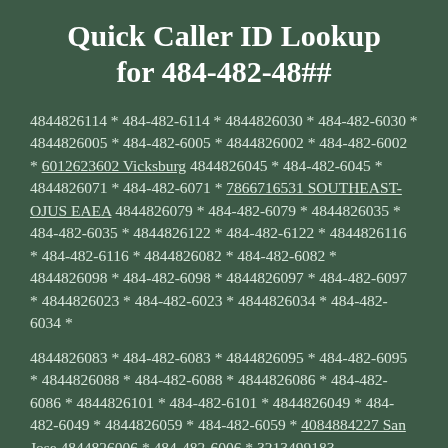Quick Caller ID Lookup for 484-482-48##
4844826114 * 484-482-6114 * 4844826030 * 484-482-6030 * 4844826005 * 484-482-6005 * 4844826002 * 484-482-6002 * 6012623602 Vicksburg 4844826045 * 484-482-6045 * 4844826071 * 484-482-6071 * 7866716531 SOUTHEAST-OJUS EAEA 4844826079 * 484-482-6079 * 4844826035 * 484-482-6035 * 4844826122 * 484-482-6122 * 4844826116 * 484-482-6116 * 4844826082 * 484-482-6082 * 4844826098 * 484-482-6098 * 4844826097 * 484-482-6097 * 4844826023 * 484-482-6023 * 4844826034 * 484-482-6034 *
4844826083 * 484-482-6083 * 4844826095 * 484-482-6095 * 4844826088 * 484-482-6088 * 4844826086 * 484-482-6086 * 4844826101 * 484-482-6101 * 4844826049 * 484-482-6049 * 4844826059 * 484-482-6059 * 4084884227 San Jose 4844826006 * 484-482-6006 * 3213499183 ORLANDO-ORLANDO EAEA 4844826089 * 484-482-6089 * 4844826042 * 484-482-